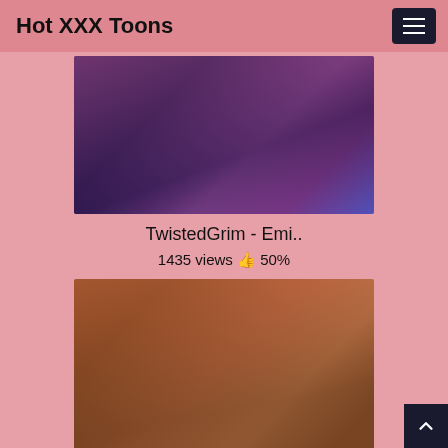Hot XXX Toons
[Figure (illustration): Animated/cartoon style illustration with pink and purple tones showing stylized characters]
TwistedGrim - Emi..
1435 views 👍 50%
[Figure (photo): 3D rendered or photo thumbnail showing figures in a warm brown-toned scene]